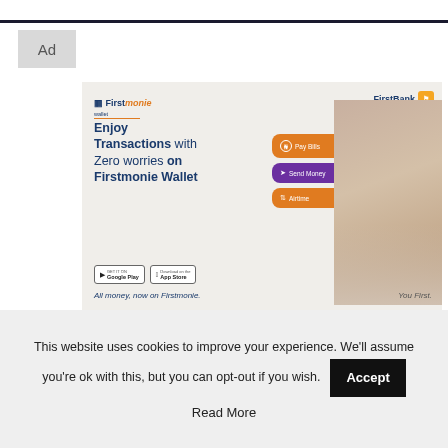Ad
[Figure (illustration): Firstmonie Wallet advertisement banner featuring a smiling woman holding a phone, with action buttons (Pay Bills, Send Money, Airtime), Google Play and App Store download buttons, tagline 'All money, now on Firstmonie.' and 'You First.' along with FirstBank and Firstmonie logos.]
This website uses cookies to improve your experience. We'll assume you're ok with this, but you can opt-out if you wish. Accept
Read More